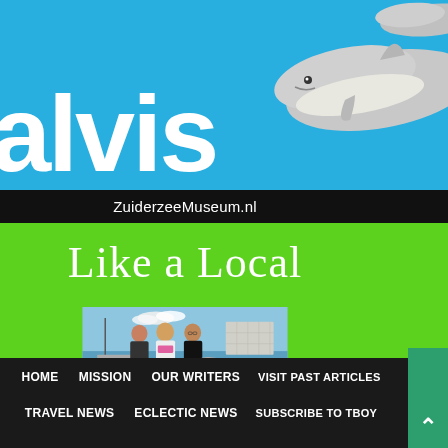[Figure (illustration): Advertisement/poster for ZuiderzeeMuseum.nl 'Like a Local' campaign. Blue background with large white text 'de walvis', a whale illustration, black bar with URL ZuiderzeeMuseum.nl, green bar with 'Like a Local' text, photo of three smiling women by a waterfront with bicycles and modern building in background.]
HOME   MISSION   OUR WRITERS   VISIT PAST ARTICLES   TRAVEL NEWS   ECLECTIC NEWS   SUBSCRIBE TO TBOY